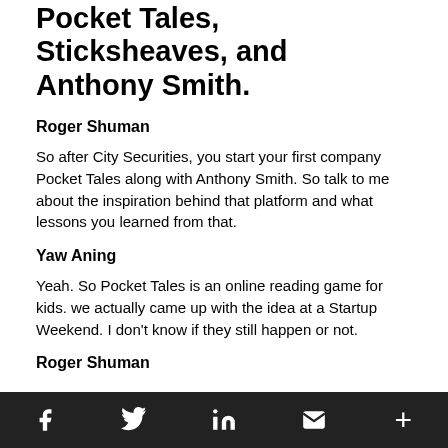Pocket Tales, Sticksheaves, and Anthony Smith.
Roger Shuman
So after City Securities, you start your first company Pocket Tales along with Anthony Smith. So talk to me about the inspiration behind that platform and what lessons you learned from that.
Yaw Aning
Yeah. So Pocket Tales is an online reading game for kids. we actually came up with the idea at a Startup Weekend. I don't know if they still happen or not.
Roger Shuman
Social share icons: Facebook, Twitter, LinkedIn, Email, More